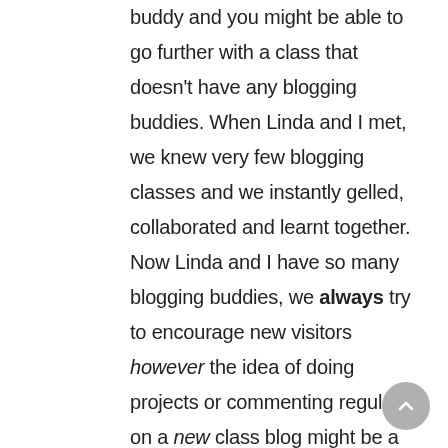buddy and you might be able to go further with a class that doesn't have any blogging buddies. When Linda and I met, we knew very few blogging classes and we instantly gelled, collaborated and learnt together. Now Linda and I have so many blogging buddies, we always try to encourage new visitors however the idea of doing projects or commenting regularly on a new class blog might be a bit hard to manage. I hope that makes sense! So basically, keep doing what you're doing and use the combination